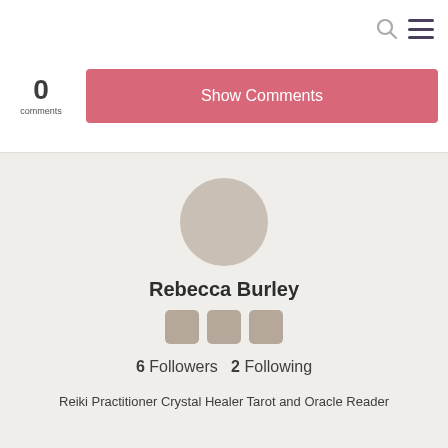[Figure (screenshot): Search icon (magnifying glass) in gray]
[Figure (screenshot): Hamburger menu icon with three horizontal lines in dark purple]
0
comments
Show Comments
[Figure (photo): Circular avatar placeholder in tan/beige color]
Rebecca Burley
[Figure (other): Three social media icon placeholders in tan/brown color]
6 Followers  2 Following
Reiki Practitioner Crystal Healer Tarot and Oracle Reader